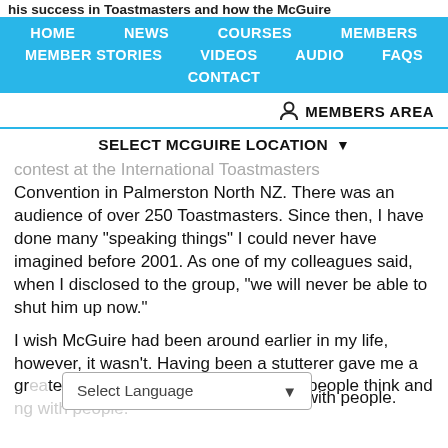his success in Toastmasters and how the McGuire
HOME  NEWS  COURSES  MEMBERS  MEMBER STORIES  VIDEOS  AUDIO  FAQS  CONTACT
MEMBERS AREA
SELECT MCGUIRE LOCATION
Contest at the International Toastmasters Convention in Palmerston North NZ. There was an audience of over 250 Toastmasters. Since then, I have done many "speaking things" I could never have imagined before 2001. As one of my colleagues said, when I disclosed to the group, "we will never be able to shut him up now."
I wish McGuire had been around earlier in my life, however, it wasn't. Having been a stutterer gave me a greater insight and respect for the way people think and connecting with people.